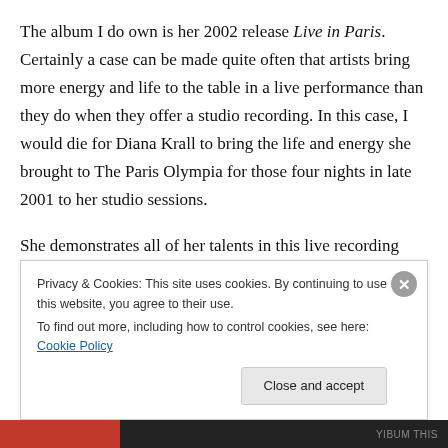The album I do own is her 2002 release Live in Paris. Certainly a case can be made quite often that artists bring more energy and life to the table in a live performance than they do when they offer a studio recording. In this case, I would die for Diana Krall to bring the life and energy she brought to The Paris Olympia for those four nights in late 2001 to her studio sessions.
She demonstrates all of her talents in this live recording that she does in her studio recordings, but you just get the feeling that the crowd brought an additional spirit to her.
Privacy & Cookies: This site uses cookies. By continuing to use this website, you agree to their use.
To find out more, including how to control cookies, see here: Cookie Policy